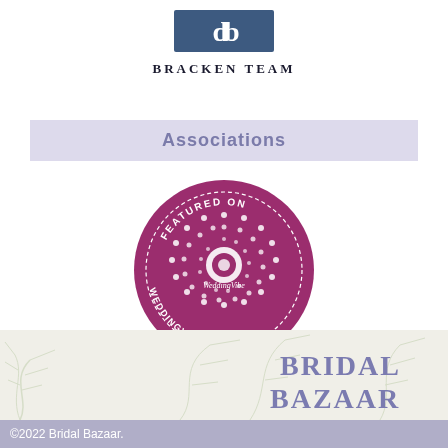[Figure (logo): Bracken Team logo: two overlapping 'b' letters in dark blue square, with text 'BRACKEN TEAM' below in dark serif font]
Associations
[Figure (logo): WeddingVibe.com 'Featured On' circular badge in dark pink/magenta color with white text and decorative dot pattern]
[Figure (logo): Bridal Bazaar logo in large serif font on decorative leafy background]
©2022 Bridal Bazaar.